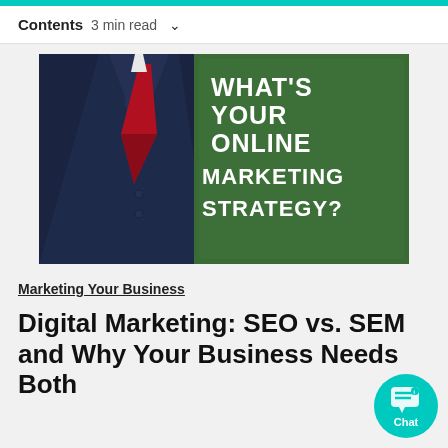Contents  3 min read  ∨
[Figure (photo): A man in a navy suit with a red tie standing next to a green chalkboard sign that reads WHAT'S YOUR ONLINE MARKETING STRATEGY? in white text]
Marketing Your Business
Digital Marketing: SEO vs. SEM and Why Your Business Needs Both